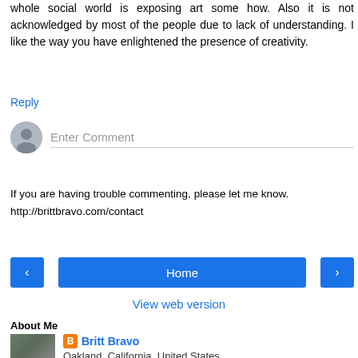whole social world is exposing art some how. Also it is not acknowledged by most of the people due to lack of understanding. I like the way you have enlightened the presence of creativity.
Reply
[Figure (other): Comment input box with avatar icon and 'Enter Comment' placeholder text]
If you are having trouble commenting, please let me know.
http://brittbravo.com/contact
[Figure (other): Navigation bar with left arrow button, Home button, and right arrow button]
View web version
About Me
[Figure (photo): Photo of Britt Bravo with dark hair]
Britt Bravo
Oakland, California, United States